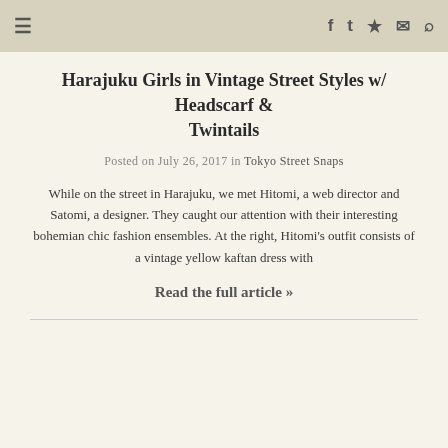≡  f  t  RSS  ✉  🔍
Harajuku Girls in Vintage Street Styles w/ Headscarf & Twintails
Posted on July 26, 2017 in Tokyo Street Snaps
While on the street in Harajuku, we met Hitomi, a web director and Satomi, a designer. They caught our attention with their interesting bohemian chic fashion ensembles. At the right, Hitomi's outfit consists of a vintage yellow kaftan dress with
Read the full article »